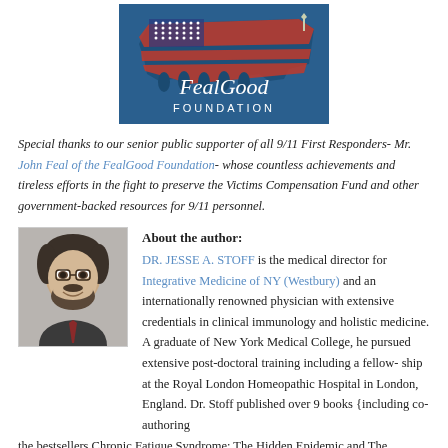[Figure (logo): FealGood Foundation logo with American flag map design and silhouettes of people]
Special thanks to our senior public supporter of all 9/11 First Responders- Mr. John Feal of the FealGood Foundation- whose countless achievements and tireless efforts in the fight to preserve the Victims Compensation Fund and other government-backed resources for 9/11 personnel.
[Figure (photo): Black and white headshot photo of Dr. Jesse A. Stoff, a man with glasses and a beard, smiling]
About the author: DR. JESSE A. STOFF is the medical director for Integrative Medicine of NY (Westbury) and an internationally renowned physician with extensive credentials in clinical immunology and holistic medicine. A graduate of New York Medical College, he pursued extensive post-doctoral training including a fellow- ship at the Royal London Homeopathic Hospital in London, England. Dr. Stoff published over 9 books {including co-authoring the bestsellers Chronic Fatigue Syndrome: The Hidden Epidemic and The Prostate Miracle} and over 250